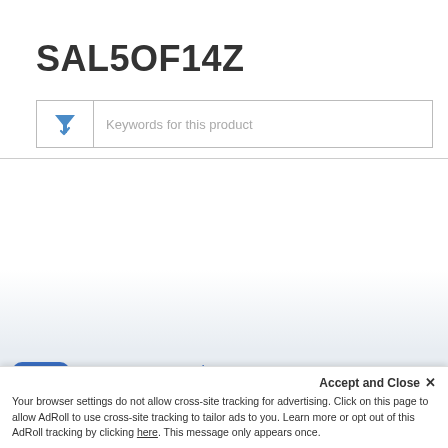SAL5OF14Z
[Figure (screenshot): Search/filter input box with a blue funnel/filter icon on the left and placeholder text 'Keywords for this product']
[Figure (infographic): Support Community section with blue icon showing group of people, title 'Support Community', description 'A place where you can find solutions and ask questions', and a grey scroll-up button]
Accept and Close ✕
Your browser settings do not allow cross-site tracking for advertising. Click on this page to allow AdRoll to use cross-site tracking to tailor ads to you. Learn more or opt out of this AdRoll tracking by clicking here. This message only appears once.